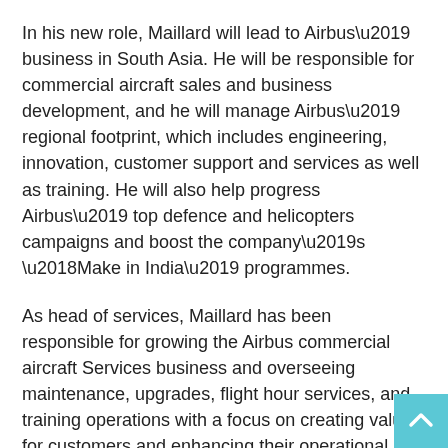In his new role, Maillard will lead to Airbus’ business in South Asia. He will be responsible for commercial aircraft sales and business development, and he will manage Airbus’ regional footprint, which includes engineering, innovation, customer support and services as well as training. He will also help progress Airbus’ top defence and helicopters campaigns and boost the company’s ‘Make in India’ programmes.
As head of services, Maillard has been responsible for growing the Airbus commercial aircraft Services business and overseeing maintenance, upgrades, flight hour services, and training operations with a focus on creating value for customers and enhancing their operational performance.
Airbus is an international reference in the aerospace